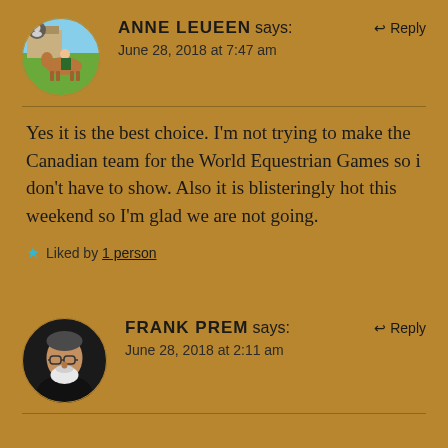[Figure (photo): Circular avatar photo of Anne Leueen, showing a person on horseback outdoors on green grass]
ANNE LEUEEN says:
June 28, 2018 at 7:47 am
Reply
Yes it is the best choice. I'm not trying to make the Canadian team for the World Equestrian Games so i don't have to show. Also it is blisteringly hot this weekend so I'm glad we are not going.
Liked by 1 person
[Figure (photo): Circular avatar photo of Frank Prem, showing an older man with glasses and a white beard]
FRANK PREM says:
June 28, 2018 at 2:11 am
Reply